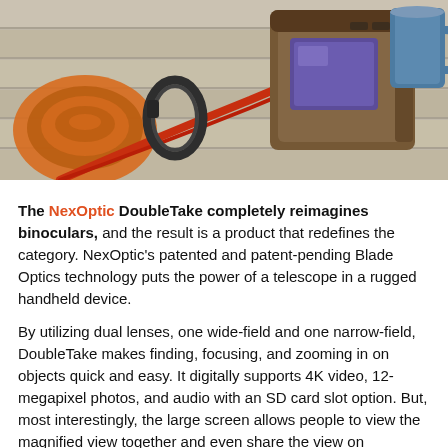[Figure (photo): Photo of NexOptic DoubleTake device (binoculars) on a wooden surface alongside orange rope coils, a carabiner, and a blue mug]
The NexOptic DoubleTake completely reimagines binoculars, and the result is a product that redefines the category. NexOptic's patented and patent-pending Blade Optics technology puts the power of a telescope in a rugged handheld device.
By utilizing dual lenses, one wide-field and one narrow-field, DoubleTake makes finding, focusing, and zooming in on objects quick and easy. It digitally supports 4K video, 12-megapixel photos, and audio with an SD card slot option. But, most interestingly, the large screen allows people to view the magnified view together and even share the view on smartphones via Bluetooth. Users can also wirelessly share their media and display screen with smartphones.
The North Face FUTURELIGHT